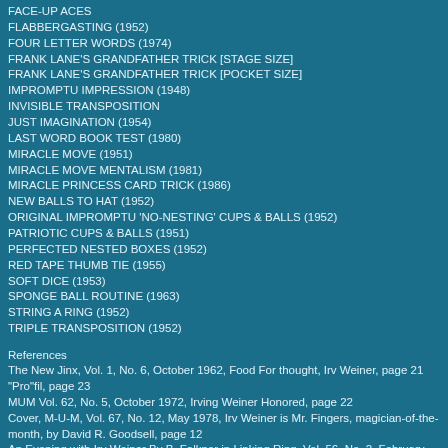FACE-UP ACES
FLABBERGASTING (1952)
FOUR LETTER WORDS (1974)
FRANK LANE'S GRANDFATHER TRICK [STAGE SIZE]
FRANK LANE'S GRANDFATHER TRICK [POCKET SIZE]
IMPROMPTU IMPRESSION (1948)
INVISIBLE TRANSPOSITION
JUST IMAGINATION (1954)
LAST WORD BOOK TEST (1980)
MIRACLE MOVE (1951)
MIRACLE MOVE MENTALISM (1981)
MIRACLE PRINCESS CARD TRICK (1986)
NEW BALLS TO HAT (1952)
ORIGINAL IMPROMPTU 'NO-NESTING' CUPS & BALLS (1952)
PATRIOTIC CUPS & BALLS (1951)
PERFECTED NESTED BOXES (1952)
RED TAPE THUMB TIE (1955)
SOFT DICE (1953)
SPONGE BALL ROUTINE (1963)
STRING A RING (1952)
TRIPLE TRANSPOSITION (1952)
References
The New Jinx, Vol. 1, No. 6, October 1962, Food For thought, Irv Weiner, page 21 "Pro"fil, page 23
MUM Vol. 62, No. 5, October 1972, Irving Weiner Honored, page 22
Cover, M-U-M, Vol. 67, No. 12, May 1978, Irv Weiner is Mr. Fingers, magician-of-the-month, by David R. Goodsell, page 12
An Evening with Irv Weiner By B. Falkner in Linking Ring, Vol. 56, No. 2, February 1976.
Cover, The Linking Ring, No. 63, No. 9, September 1983, Our Cover, Irv Weiner, page 40
Cover, M-U-M, Vol. 81, No. 9, February 1992, Irv "Mr. Fingers" Weiner, Wo is this Irv Weiner, page 12
The Linking Ring, Vol. 80, No. 2, February 2000, Broken Wand, Irving "Irv" Weiner, page 129
M-U-M, Vol. 89, No. 9, February 2000, Broken Wands, Irving Weiner, by David Goodsell, page 44
http://forums.geniimagazine.com/viewtopic.php?f=1&t=43119&p=290820